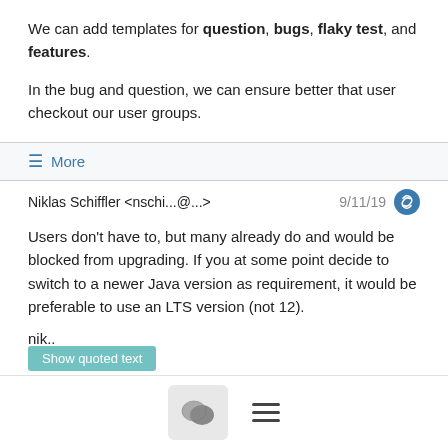We can add templates for question, bugs, flaky test, and features.
In the bug and question, we can ensure better that user checkout our user groups.
≡ More
Niklas Schiffler <nschi...@...>  9/11/19
Users don't have to, but many already do and would be blocked from upgrading. If you at some point decide to switch to a newer Java version as requirement, it would be preferable to use an LTS version (not 12).
nik..
Show quoted text